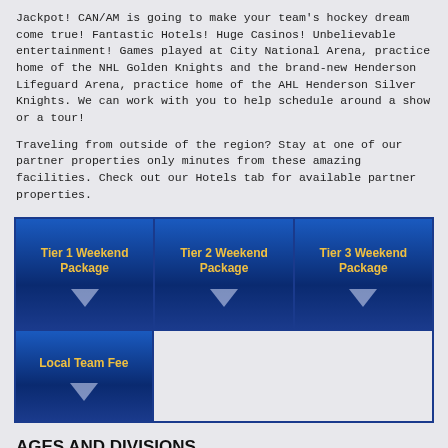Jackpot! CAN/AM is going to make your team's hockey dream come true! Fantastic Hotels! Huge Casinos! Unbelievable entertainment! Games played at City National Arena, practice home of the NHL Golden Knights and the brand-new Henderson Lifeguard Arena, practice home of the AHL Henderson Silver Knights. We can work with you to help schedule around a show or a tour!
Traveling from outside of the region? Stay at one of our partner properties only minutes from these amazing facilities. Check out our Hotels tab for available partner properties.
[Figure (infographic): Three blue gradient buttons/cards in a grid: Tier 1 Weekend Package, Tier 2 Weekend Package, Tier 3 Weekend Package (each with a downward arrow), and below them a fourth card: Local Team Fee (with a downward arrow).]
AGES AND DIVISIONS
Elite divisions will be composed of competitive AAA and AA teams and available by birthyear while Travel Divisions will offer competitive action for the A/B players and their teams by age category.